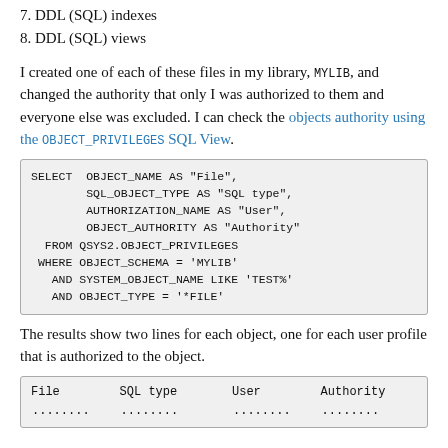7. DDL (SQL) indexes
8. DDL (SQL) views
I created one of each of these files in my library, MYLIB, and changed the authority that only I was authorized to them and everyone else was excluded. I can check the objects authority using the OBJECT_PRIVILEGES SQL View.
[Figure (screenshot): SQL code block: SELECT OBJECT_NAME AS "File", SQL_OBJECT_TYPE AS "SQL type", AUTHORIZATION_NAME AS "User", OBJECT_AUTHORITY AS "Authority" FROM QSYS2.OBJECT_PRIVILEGES WHERE OBJECT_SCHEMA = 'MYLIB' AND SYSTEM_OBJECT_NAME LIKE 'TEST%' AND OBJECT_TYPE = '*FILE']
The results show two lines for each object, one for each user profile that is authorized to the object.
| File | SQL type | User | Authority |
| --- | --- | --- | --- |
| ........ | ........ | ........ | ........ |